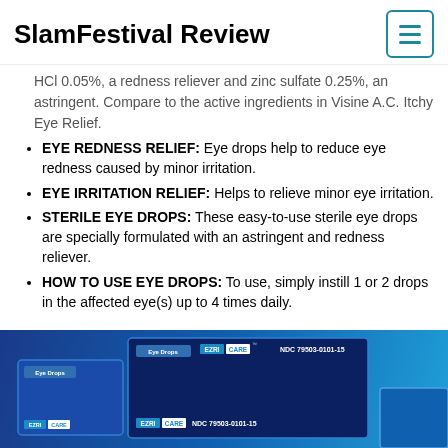SlamFestival Review
HCl 0.05%, a redness reliever and zinc sulfate 0.25%, an astringent. Compare to the active ingredients in Visine A.C. Itchy Eye Relief.
EYE REDNESS RELIEF: Eye drops help to reduce eye redness caused by minor irritation.
EYE IRRITATION RELIEF: Helps to relieve minor eye irritation.
STERILE EYE DROPS: These easy-to-use sterile eye drops are specially formulated with an astringent and redness reliever.
HOW TO USE EYE DROPS: To use, simply instill 1 or 2 drops in the affected eye(s) up to 4 times daily.
[Figure (photo): Product photo showing EZRI CARE eye drop boxes with NDC 79503-0101-15 on a blue background]